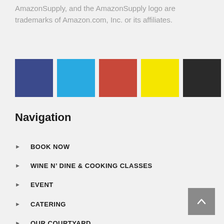AmazonSupply, and the AmazonSupply logo are trademarks of Amazon.com, Inc. or its affiliates.
[Figure (illustration): Five color swatches in a row: dark blue/navy, sky blue, red-orange, yellow, black]
Navigation
BOOK NOW
WINE N' DINE & COOKING CLASSES
EVENT
CATERING
OUR COURTYARD